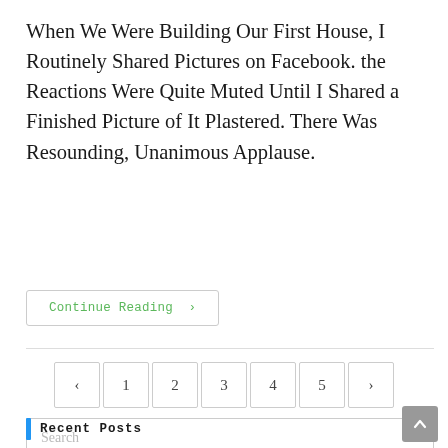When We Were Building Our First House, I Routinely Shared Pictures on Facebook. the Reactions Were Quite Muted Until I Shared a Finished Picture of It Plastered. There Was Resounding, Unanimous Applause.
Continue Reading ›
‹ 1 2 3 4 5 ›
Search
Recent Posts